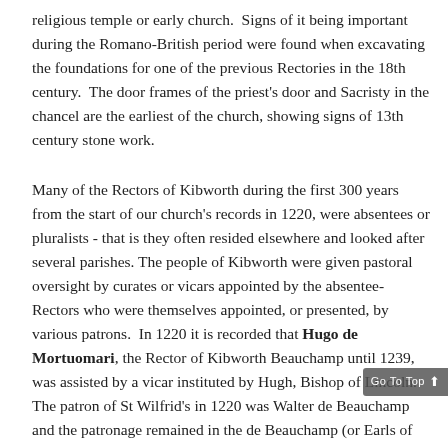religious temple or early church.  Signs of it being important during the Romano-British period were found when excavating the foundations for one of the previous Rectories in the 18th century.  The door frames of the priest’s door and Sacristy in the chancel are the earliest of the church, showing signs of 13th century stone work.
Many of the Rectors of Kibworth during the first 300 years from the start of our church’s records in 1220, were absentees or pluralists - that is they often resided elsewhere and looked after several parishes. The people of Kibworth were given pastoral oversight by curates or vicars appointed by the absentee-Rectors who were themselves appointed, or presented, by various patrons.  In 1220 it is recorded that Hugo de Mortuomari, the Rector of Kibworth Beauchamp until 1239, was assisted by a vicar instituted by Hugh, Bishop of Lincoln.  The patron of St Wilfrid’s in 1220 was Walter de Beauchamp and the patronage remained in the de Beauchamp (or Earls of Warwick) possession until at least 1435, which included the time of the Black Death in the 1350s, but there are few records over this period until the